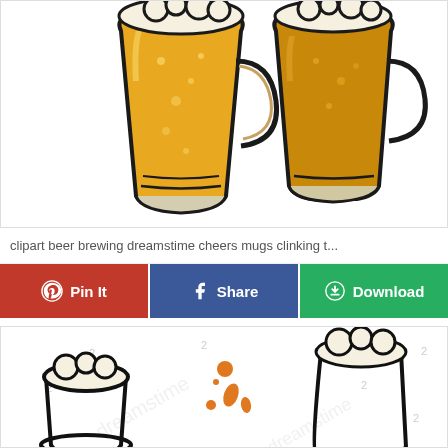[Figure (illustration): Two cartoon beer mugs clinking together, filled with golden-amber beer, illustrated in a clipart style with bold black outlines on white background]
clipart beer brewing dreamstime cheers mugs clinking t...
[Figure (other): Three red Pinterest pin-it button, blue Facebook share button, and green download button row]
[Figure (illustration): Beer mug clipart illustration with foam splash and orange droplets on white background with watermark numbers]